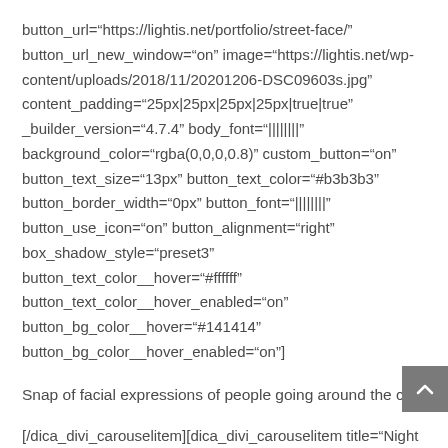button_url="https://lightis.net/portfolio/street-face/" button_url_new_window="on" image="https://lightis.net/wp-content/uploads/2018/11/20201206-DSC09603s.jpg" content_padding="25px|25px|25px|25px|true|true" _builder_version="4.7.4" body_font="||||||||" background_color="rgba(0,0,0,0.8)" custom_button="on" button_text_size="13px" button_text_color="#b3b3b3" button_border_width="0px" button_font="||||||||" button_use_icon="on" button_alignment="right" box_shadow_style="preset3" button_text_color__hover="#ffffff" button_text_color__hover_enabled="on" button_bg_color__hover="#141414" button_bg_color__hover_enabled="on"]
Snap of facial expressions of people going around the city.
[/dica_divi_carouselitem][dica_divi_carouselitem title="Night Light" button_text="View More"